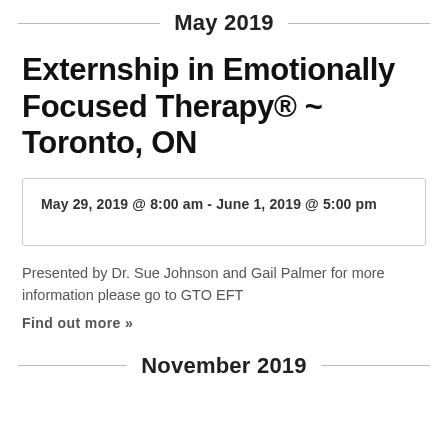May 2019
Externship in Emotionally Focused Therapy® ~ Toronto, ON
May 29, 2019 @ 8:00 am - June 1, 2019 @ 5:00 pm
Presented by Dr. Sue Johnson and Gail Palmer for more information please go to GTO EFT
Find out more »
November 2019